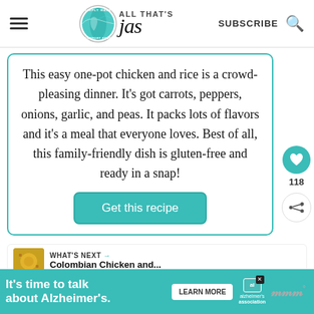[Figure (logo): All That's Jas website header with hamburger menu, circular globe logo with teal color, brand name 'ALL THAT'S jas' in handwritten style, SUBSCRIBE text, and search icon]
This easy one-pot chicken and rice is a crowd-pleasing dinner. It's got carrots, peppers, onions, garlic, and peas. It packs lots of flavors and it's a meal that everyone loves. Best of all, this family-friendly dish is gluten-free and ready in a snap!
Get this recipe
WHAT'S NEXT → Colombian Chicken and...
[Figure (photo): Food photo showing spoons and bowls with ingredients on a white surface]
It's time to talk about Alzheimer's.
LEARN MORE